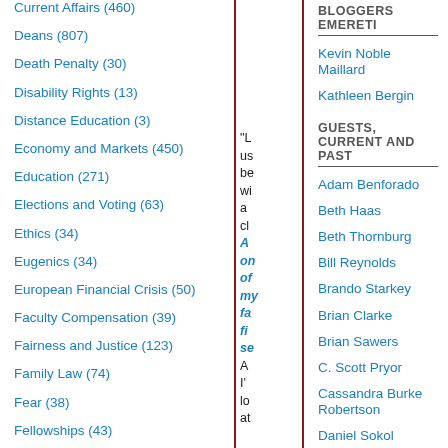Current Affairs (460)
Deans (807)
Death Penalty (30)
Disability Rights (13)
Distance Education (3)
Economy and Markets (450)
Education (271)
Elections and Voting (63)
Ethics (34)
Eugenics (34)
European Financial Crisis (50)
Faculty Compensation (39)
Fairness and Justice (123)
Family Law (74)
Fear (38)
Fellowships (43)
Film (180)
Financial Market Regulation (127)
Food and Drink (47)
BLOGGERS EMERETI
Kevin Noble Maillard
Kathleen Bergin
GUESTS, CURRENT AND PAST
Adam Benforado
Beth Haas
Beth Thornburg
Bill Reynolds
Brando Starkey
Brian Clarke
Brian Sawers
C. Scott Pryor
Cassandra Burke Robertson
Daniel Sokol
David J.R. Frakt
David Orentlicher
David S. Cohen